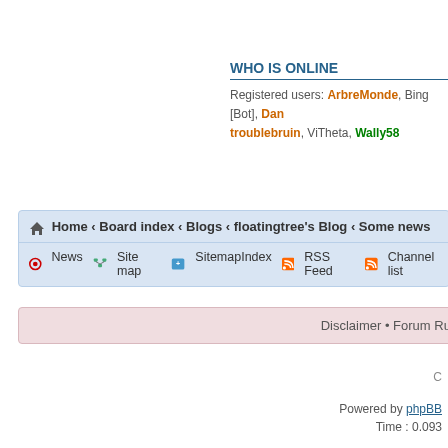WHO IS ONLINE
Registered users: ArbreMonde, Bing [Bot], Dan, troublebruin, ViTheta, Wally58
Home ‹ Board index ‹ Blogs ‹ floatingtree's Blog ‹ Some news
News   Site map   SitemapIndex   RSS Feed   Channel list
Disclaimer • Forum Rule
C
Powered by phpBB
Time : 0.093